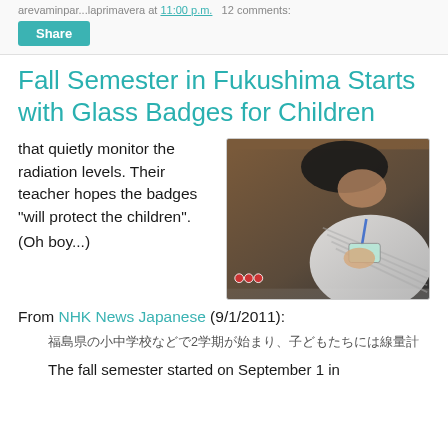arevaminpar...laprimavera at 11:00 p.m.   12 comments:
Share
Fall Semester in Fukushima Starts with Glass Badges for Children
that quietly monitor the radiation levels. Their teacher hopes the badges "will protect the children".

(Oh boy...)
[Figure (photo): Video screenshot from NHK News Japanese showing a person holding a glass radiation dosimeter badge. Japanese text overlay reads: 福島で2学期始まる 子どもたちに線量計]
From NHK News Japanese (9/1/2011):
福島県の小中学校などで2学期が始まり、子どもたちには線量計
The fall semester started on September 1 in